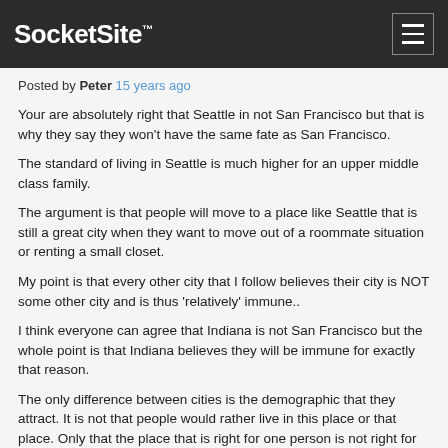SocketSite™
Posted by Peter 15 years ago
Your are absolutely right that Seattle in not San Francisco but that is why they say they won't have the same fate as San Francisco.
The standard of living in Seattle is much higher for an upper middle class family.
The argument is that people will move to a place like Seattle that is still a great city when they want to move out of a roommate situation or renting a small closet.
My point is that every other city that I follow believes their city is NOT some other city and is thus 'relatively' immune..
I think everyone can agree that Indiana is not San Francisco but the whole point is that Indiana believes they will be immune for exactly that reason.
The only difference between cities is the demographic that they attract. It is not that people would rather live in this place or that place. Only that the place that is right for one person is not right for